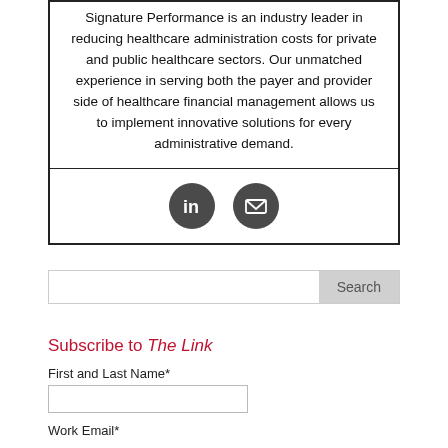Signature Performance is an industry leader in reducing healthcare administration costs for private and public healthcare sectors. Our unmatched experience in serving both the payer and provider side of healthcare financial management allows us to implement innovative solutions for every administrative demand.
[Figure (illustration): Two dark circular social media icons: LinkedIn logo and an envelope/email icon.]
Search
Subscribe to The Link
First and Last Name*
Work Email*